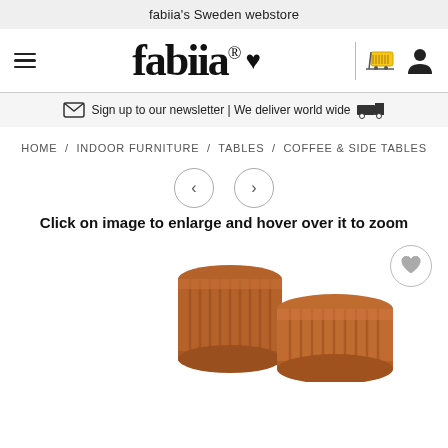fabiia's Sweden webstore
[Figure (logo): fabiia logo with registered trademark symbol, heart icon, shopping cart icon, and user icon in navigation bar]
Sign up to our newsletter | We deliver world wide
HOME / INDOOR FURNITURE / TABLES / COFFEE & SIDE TABLES
[Figure (other): Previous and next navigation arrow buttons (circles with < and > arrows)]
Click on image to enlarge and hover over it to zoom
[Figure (photo): Two terracotta/rust colored ribbed cylindrical side tables, one taller and one shorter, photographed against white background]